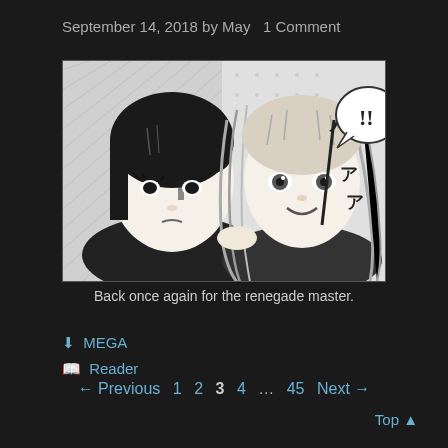September 14, 2018 by May  1 Comment
[Figure (illustration): Manga panel showing two female characters - one with short dark hair looking serious, and one with long light hair smiling, with Japanese text katakana characters and a speech bubble containing exclamation marks]
Back once again for the renegade master.
MEGA
Reader
← Previous  1  2  3  4  ...  45  Next →